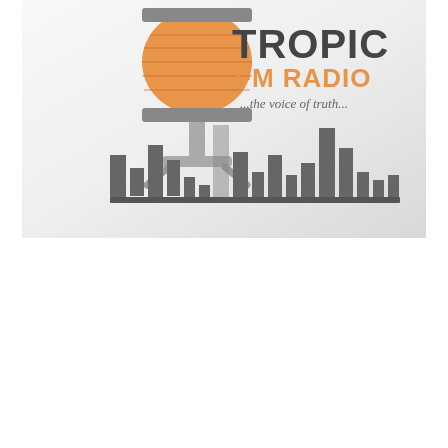[Figure (logo): Tropic FM Radio logo featuring a vintage microphone in orange and gray with the text 'TROPIC FM RADIO ...the voice of truth...' and a stylized bar chart/equalizer graphic in gray below]